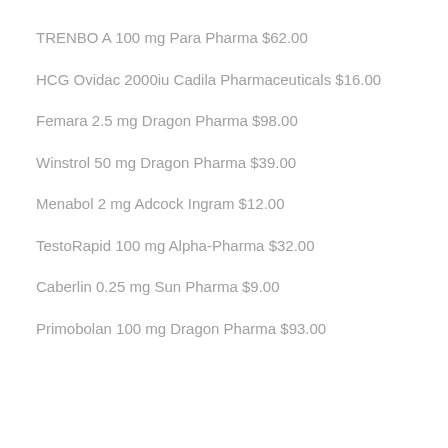TRENBO A 100 mg Para Pharma $62.00
HCG Ovidac 2000iu Cadila Pharmaceuticals $16.00
Femara 2.5 mg Dragon Pharma $98.00
Winstrol 50 mg Dragon Pharma $39.00
Menabol 2 mg Adcock Ingram $12.00
TestoRapid 100 mg Alpha-Pharma $32.00
Caberlin 0.25 mg Sun Pharma $9.00
Primobolan 100 mg Dragon Pharma $93.00